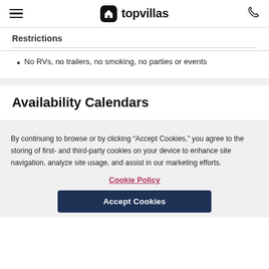topvillas
Restrictions
No RVs, no trailers, no smoking, no parties or events
Availability Calendars
By continuing to browse or by clicking “Accept Cookies,” you agree to the storing of first- and third-party cookies on your device to enhance site navigation, analyze site usage, and assist in our marketing efforts.
Cookie Policy
Accept Cookies